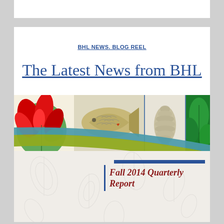BHL NEWS. BLOG REEL
The Latest News from BHL
[Figure (illustration): BHL Fall 2014 Quarterly Report cover banner with botanical illustrations (red flower, fish, pine cone, green leaves) and curved decorative bands in teal and olive green, with text 'Fall 2014 Quarterly Report' in red italic on a light botanical patterned background]